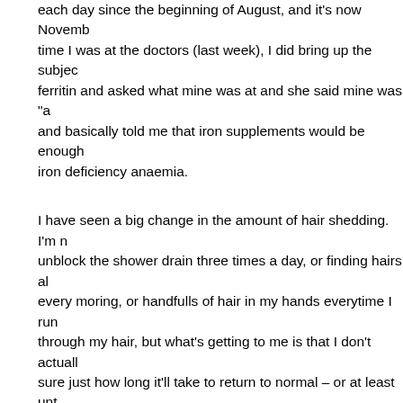each day since the beginning of August, and it's now Novemb... time I was at the doctors (last week), I did bring up the subjec... ferritin and asked what mine was at and she said mine was "a... and basically told me that iron supplements would be enough... iron deficiency anaemia.
I have seen a big change in the amount of hair shedding. I'm n... unblock the shower drain three times a day, or finding hairs al... every moring, or handfulls of hair in my hands everytime I run... through my hair, but what's getting to me is that I don't actuall... sure just how long it'll take to return to normal – or at least unt... some volume and density. I feel that maybe I put off going to t... so long in the first place, that it's going to take a long time for... any notceable improvements. This might sound like it's a mind... loss, but I can assure it's definitely not! My hair is a little longe... shoulder length and so if anyone sees me when my hair is do... would be a very rare sight as all I can bear to do with it is tie i... really is noticeable that I've lost more than half my hair. *sobs... And what's worse is that whenever I try to search for anything... on the internet, nothing totally informative ever comes up. Also... thing is that WILL HAIR ACTUALLY RETURN AND REGROW...